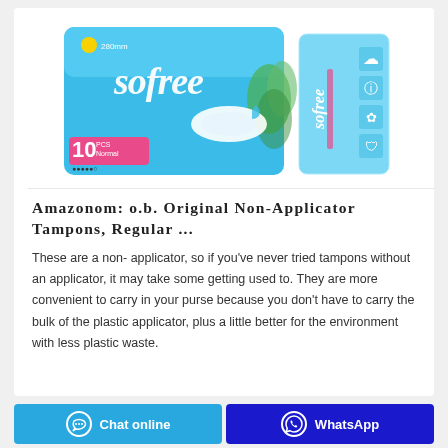[Figure (photo): Product photo showing two views of Sofree sanitary pad packaging - front view showing blue package with '10 PCS Normal' label and side/back view of the same package]
Amazonom: o.b. Original Non-Applicator Tampons, Regular ...
These are a non- applicator, so if you've never tried tampons without an applicator, it may take some getting used to. They are more convenient to carry in your purse because you don't have to carry the bulk of the plastic applicator, plus a little better for the environment with less plastic waste.
Chat online   WhatsApp